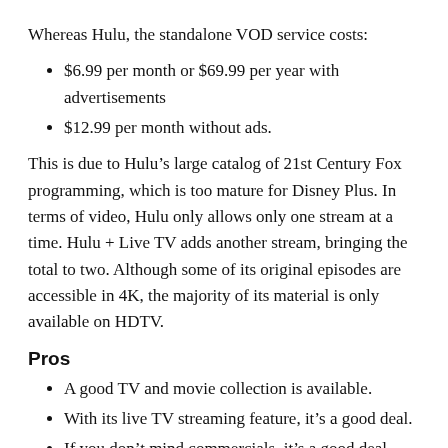Whereas Hulu, the standalone VOD service costs:
$6.99 per month or $69.99 per year with advertisements
$12.99 per month without ads.
This is due to Hulu’s large catalog of 21st Century Fox programming, which is too mature for Disney Plus. In terms of video, Hulu only allows only one stream at a time. Hulu + Live TV adds another stream, bringing the total to two. Although some of its original episodes are accessible in 4K, the majority of its material is only available on HDTV.
Pros
A good TV and movie collection is available.
With its live TV streaming feature, it’s a good deal.
If you don’t mind commercials, it’s a good deal.